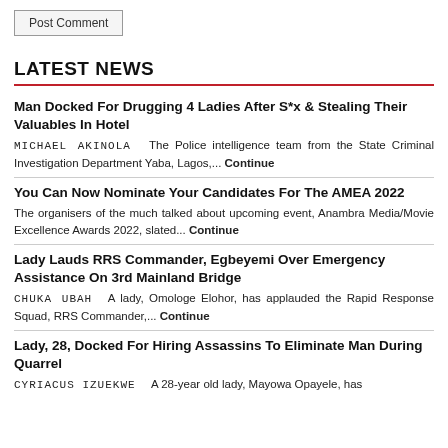Post Comment
LATEST NEWS
Man Docked For Drugging 4 Ladies After S*x & Stealing Their Valuables In Hotel – MICHAEL AKINOLA  The Police intelligence team from the State Criminal Investigation Department Yaba, Lagos,... Continue
You Can Now Nominate Your Candidates For The AMEA 2022 – The organisers of the much talked about upcoming event, Anambra Media/Movie Excellence Awards 2022, slated... Continue
Lady Lauds RRS Commander, Egbeyemi Over Emergency Assistance On 3rd Mainland Bridge – CHUKA UBAH  A lady, Omologe Elohor, has applauded the Rapid Response Squad, RRS Commander,... Continue
Lady, 28, Docked For Hiring Assassins To Eliminate Man During Quarrel – CYRIACUS IZUEKWE  A 28-year old lady, Mayowa Opayele, has